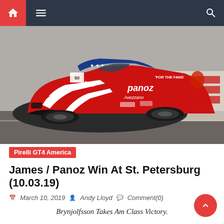Navigation bar with home, menu, and search icons
[Figure (photo): A red, white, and blue American flag-themed Panoz Avezzano GT4 race car (#50 Team Panoz Racing) on a race track at St. Petersburg. The car features stars and stripes livery with 'Panoz Avezzano' branding and 'For the Fans' text.]
Pirelli GT4 America
James / Panoz Win At St. Petersburg (10.03.19)
March 10, 2019  Andy Lloyd  Comment(0)
Brynjolfsson Takes Am Class Victory.
Ian James, at the wheel of the #50 Team Panoz Racing Panoz Avezzano GT4, took the win at in Round One if the